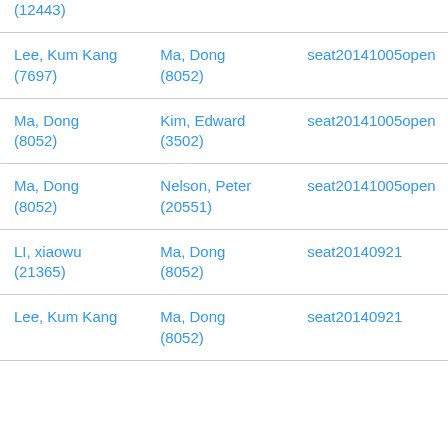| (12443) |  |  |
| Lee, Kum Kang
(7697) | Ma, Dong
(8052) | seat20141005open |
| Ma, Dong
(8052) | Kim, Edward
(3502) | seat20141005open |
| Ma, Dong
(8052) | Nelson, Peter
(20551) | seat20141005open |
| LI, xiaowu
(21365) | Ma, Dong
(8052) | seat20140921 |
| Lee, Kum Kang | Ma, Dong
(8052) | seat20140921 |